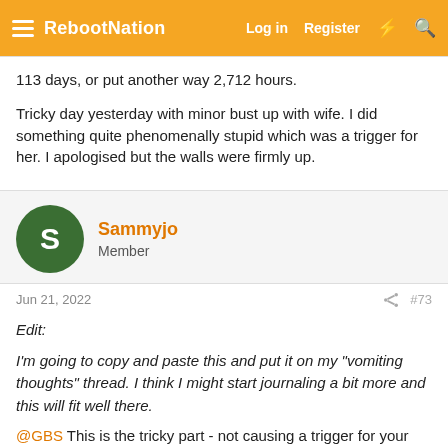RebootNation — Log in  Register
113 days, or put another way 2,712 hours.
Tricky day yesterday with minor bust up with wife. I did something quite phenomenally stupid which was a trigger for her. I apologised but the walls were firmly up.
Sammyjo
Member
Jun 21, 2022  #73
Edit:
I'm going to copy and paste this and put it on my "vomiting thoughts" thread. I think I might start journaling a bit more and this will fit well there.

@GBS This is the tricky part - not causing a trigger for your partner. It's like walking through a mine field. Somethings are